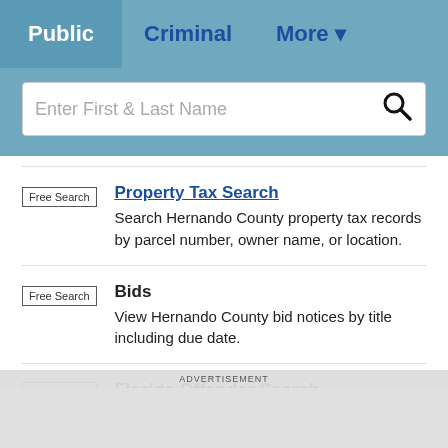Public   Criminal   More ▾
[Figure (screenshot): Search bar with placeholder text 'Enter First & Last Name' and a magnifying glass icon]
Free Search | Property Tax Search — Search Hernando County property tax records by parcel number, owner name, or location.
Free Search | Bids — View Hernando County bid notices by title including due date.
Free Search | Florida Offender Search (partially visible)
ADVERTISEMENT